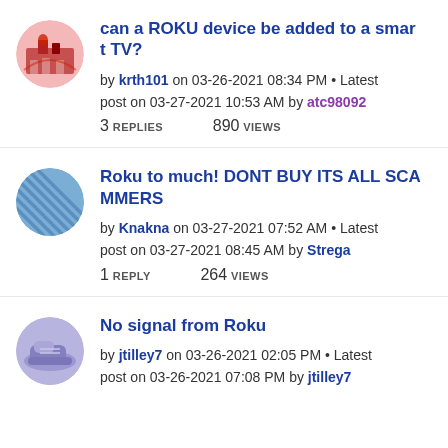can a ROKU device be added to a smart TV?
by krth101 on 03-26-2021 08:34 PM • Latest post on 03-27-2021 10:53 AM by atc98092
3 REPLIES   890 VIEWS
Roku to much! DONT BUY ITS ALL SCAMMERS
by Knakna on 03-27-2021 07:52 AM • Latest post on 03-27-2021 08:45 AM by Strega
1 REPLY   264 VIEWS
No signal from Roku
by jtilley7 on 03-26-2021 02:05 PM • Latest post on 03-26-2021 07:08 PM by jtilley7